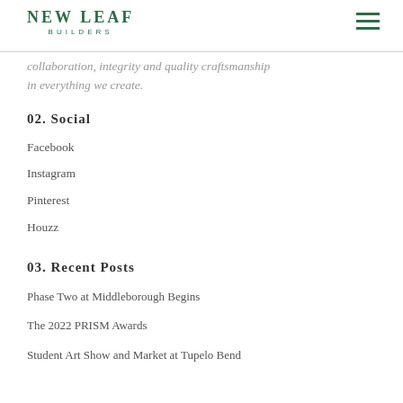NEW LEAF BUILDERS
collaboration, integrity and quality craftsmanship in everything we create.
02. Social
Facebook
Instagram
Pinterest
Houzz
03. Recent Posts
Phase Two at Middleborough Begins
The 2022 PRISM Awards
Student Art Show and Market at Tupelo Bend